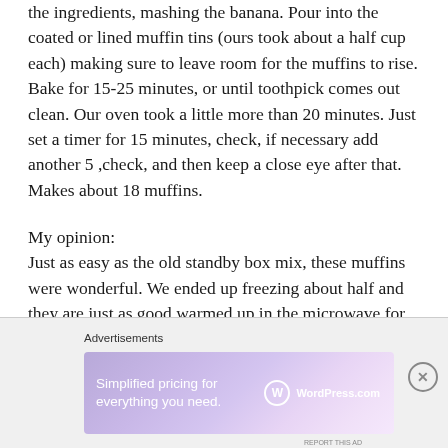the ingredients, mashing the banana. Pour into the coated or lined muffin tins (ours took about a half cup each) making sure to leave room for the muffins to rise. Bake for 15-25 minutes, or until toothpick comes out clean. Our oven took a little more than 20 minutes. Just set a timer for 15 minutes, check, if necessary add another 5 ,check, and then keep a close eye after that. Makes about 18 muffins.
My opinion:
Just as easy as the old standby box mix, these muffins were wonderful. We ended up freezing about half and they are just as good warmed up in the microwave for about 30 seconds.
Advertisements
[Figure (other): WordPress.com advertisement banner with gradient purple background. Text: 'Simplified pricing for everything you need.' with WordPress.com logo.]